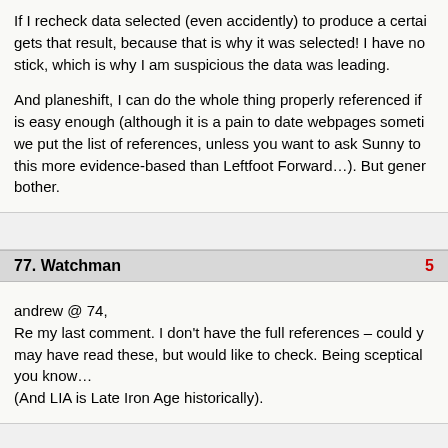If I recheck data selected (even accidently) to produce a certain result, gets that result, because that is why it was selected! I have no stick, which is why I am suspicious the data was leading.
And planeshift, I can do the whole thing properly referenced if is easy enough (although it is a pain to date webpages someti we put the list of references, unless you want to ask Sunny to this more evidence-based than Leftfoot Forward…). But gene bother.
77. Watchman
andrew @ 74,
Re my last comment. I don't have the full references – could y may have read these, but would like to check. Being sceptical you know…
(And LIA is Late Iron Age historically).